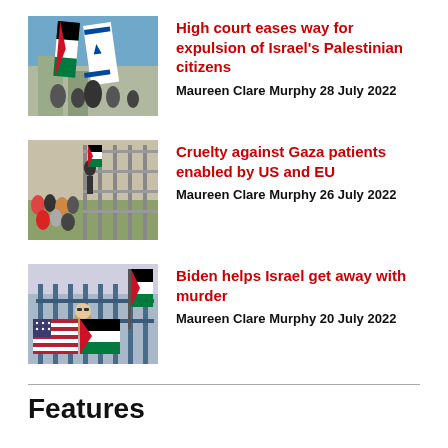[Figure (photo): Flags including Israeli and Palestinian flags being waved at a protest or demonstration outdoors]
High court eases way for expulsion of Israel's Palestinian citizens
Maureen Clare Murphy 28 July 2022
[Figure (photo): Crowds of people near a large metal fence or barrier, Gaza protest scene]
Cruelty against Gaza patients enabled by US and EU
Maureen Clare Murphy 26 July 2022
[Figure (photo): Person holding flags including US and Palestinian flags at a demonstration, with fence in background]
Biden helps Israel get away with murder
Maureen Clare Murphy 20 July 2022
Features